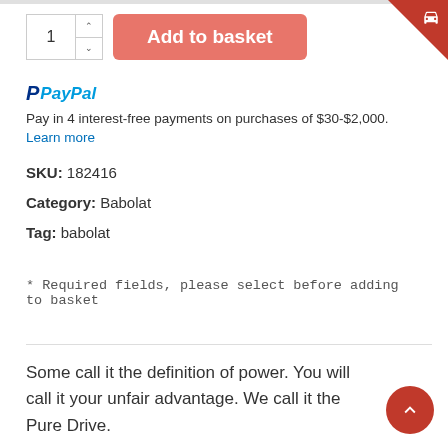[Figure (screenshot): Add to basket UI with quantity selector and salmon-colored button]
Pay in 4 interest-free payments on purchases of $30-$2,000. Learn more
SKU: 182416
Category: Babolat
Tag: babolat
* Required fields, please select before adding to basket
Some call it the definition of power. You will call it your unfair advantage. We call it the Pure Drive.